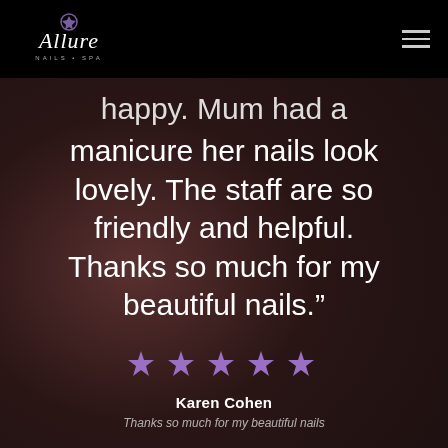[Figure (logo): Allure nail spa logo in white cursive script with a small decorative emblem, on black background]
happy. Mum had a manicure her nails look lovely. The staff are so friendly and helpful. Thanks so much for my beautiful nails.”
[Figure (other): Five purple star rating icons]
Karen Cohen
Thanks so much for my beautiful nails